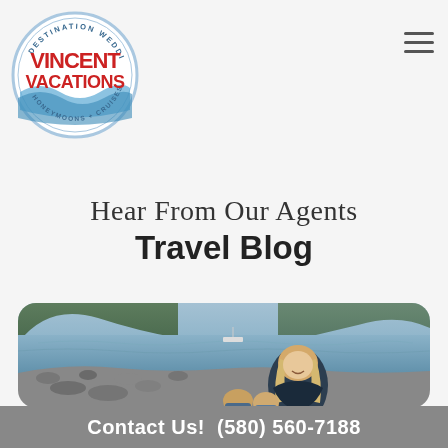[Figure (logo): Vincent Vacations circular logo with red text and blue wave design. Text reads DESTINATION WEDDINGS, VINCENT VACATIONS, HONEYMOONS + CRUISES]
Hear From Our Agents
Travel Blog
[Figure (photo): A woman with long blonde hair and two young boys sitting on a rocky shoreline with a lake or loch in the background and hills/mountains behind. A boat is visible on the water. The woman is wearing a dark navy jacket.]
Contact Us!  (580) 560-7188